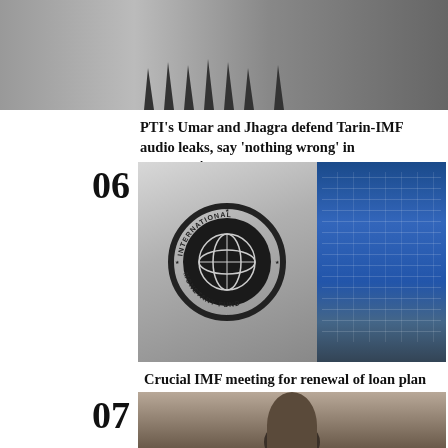[Figure (photo): Press conference photo showing people behind microphones, likely politicians at podium]
PTI's Umar and Jhagra defend Tarin-IMF audio leaks, say 'nothing wrong' in conversations
06
[Figure (photo): International Monetary Fund logo/seal on wall on left, and IMF building exterior on right]
Crucial IMF meeting for renewal of loan plan today
07
[Figure (photo): Portrait photo of a man wearing glasses, partially visible]